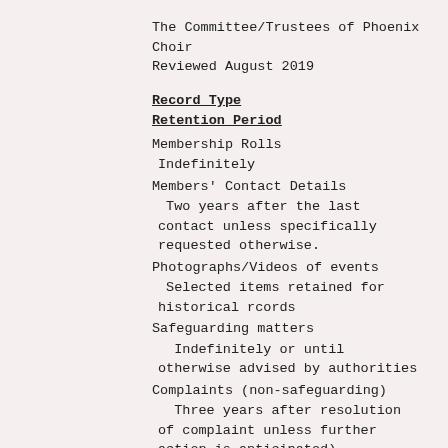The Committee/Trustees of Phoenix Choir
Reviewed August 2019
Record Type
Retention Period
Membership Rolls
Indefinitely
Members' Contact Details
Two years after the last contact unless specifically requested otherwise.
Photographs/Videos of events
Selected items retained for historical rcords
Safeguarding matters
Indefinitely or until otherwise advised by authorities
Complaints (non-safeguarding)
Three years after resolution of complaint unless further action is anticipated)
Minutes
Indefinitely
Bank and Gift Aid Details
Seven years to comply with statutory requirements